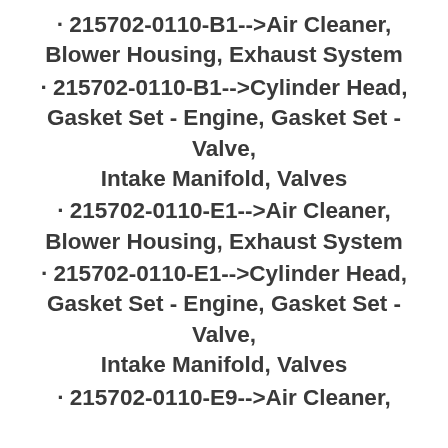· 215702-0110-B1-->Air Cleaner, Blower Housing, Exhaust System
· 215702-0110-B1-->Cylinder Head, Gasket Set - Engine, Gasket Set - Valve, Intake Manifold, Valves
· 215702-0110-E1-->Air Cleaner, Blower Housing, Exhaust System
· 215702-0110-E1-->Cylinder Head, Gasket Set - Engine, Gasket Set - Valve, Intake Manifold, Valves
· 215702-0110-E9-->Air Cleaner,